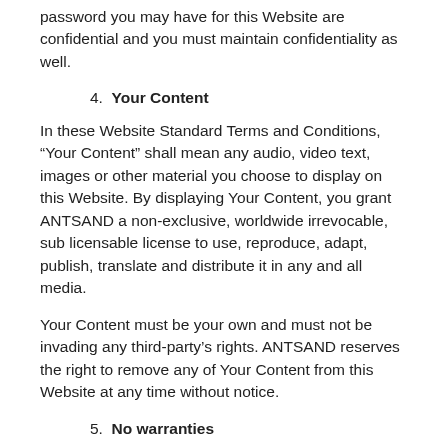password you may have for this Website are confidential and you must maintain confidentiality as well.
4. Your Content
In these Website Standard Terms and Conditions, “Your Content” shall mean any audio, video text, images or other material you choose to display on this Website. By displaying Your Content, you grant ANTSAND a non-exclusive, worldwide irrevocable, sub licensable license to use, reproduce, adapt, publish, translate and distribute it in any and all media.
Your Content must be your own and must not be invading any third-party’s rights. ANTSAND reserves the right to remove any of Your Content from this Website at any time without notice.
5. No warranties